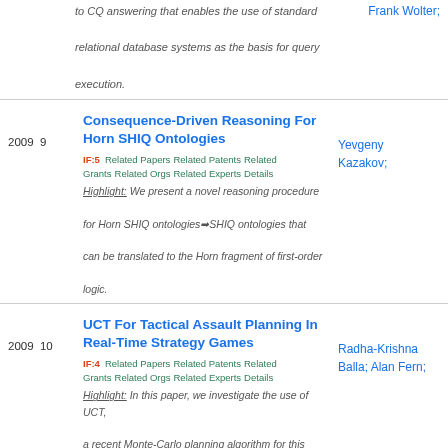to CQ answering that enables the use of standard relational database systems as the basis for query execution.
Frank Wolter;
Consequence-Driven Reasoning For Horn SHIQ Ontologies
IF:5 Related Papers Related Patents Related Grants Related Orgs Related Experts Details
2009 9
Yevgeny Kazakov;
Highlight: We present a novel reasoning procedure for Horn SHIQ ontologies➡SHIQ ontologies that can be translated to the Horn fragment of first-order logic.
UCT For Tactical Assault Planning In Real-Time Strategy Games
IF:4 Related Papers Related Patents Related Grants Related Orgs Related Experts Details
2009 10
Radha-Krishna Balla; Alan Fern;
Highlight: In this paper, we investigate the use of UCT, a recent Monte-Carlo planning algorithm for this